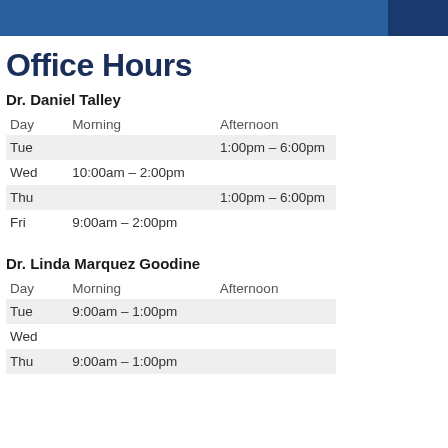[Figure (other): Blue header banner with darker blue section on right]
Office Hours
Dr. Daniel Talley
| Day | Morning | Afternoon |
| --- | --- | --- |
| Tue |  | 1:00pm – 6:00pm |
| Wed | 10:00am – 2:00pm |  |
| Thu |  | 1:00pm – 6:00pm |
| Fri | 9:00am – 2:00pm |  |
Dr. Linda Marquez Goodine
| Day | Morning | Afternoon |
| --- | --- | --- |
| Tue | 9:00am – 1:00pm |  |
| Wed |  |  |
| Thu | 9:00am – 1:00pm |  |